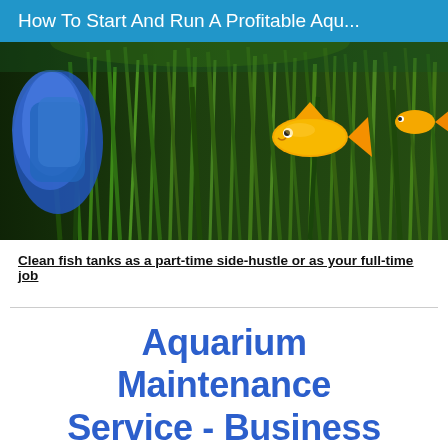How To Start And Run A Profitable Aqu...
[Figure (photo): Aquarium scene showing green aquatic plants with a yellow/orange fish swimming in the foreground and a blue object (possibly a sponge or decor) on the left side]
Clean fish tanks as a part-time side-hustle or as your full-time job
Aquarium Maintenance Service - Business Plan